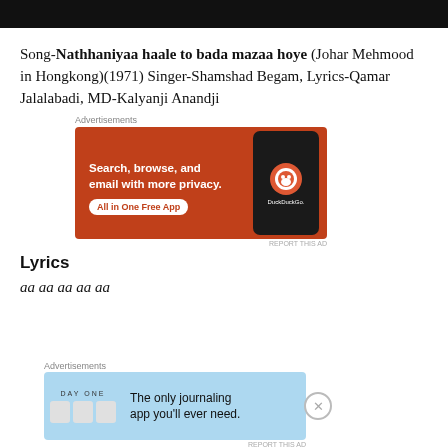[Figure (screenshot): Black bar at top of page]
Song-Nathhaniyaa haale to bada mazaa hoye (Johar Mehmood in Hongkong)(1971) Singer-Shamshad Begam, Lyrics-Qamar Jalalabadi, MD-Kalyanji Anandji
Advertisements
[Figure (screenshot): DuckDuckGo advertisement: Search, browse, and email with more privacy. All in One Free App. Shows a smartphone with DuckDuckGo logo.]
REPORT THIS AD
Lyrics
aa aa aa aa aa
Advertisements
[Figure (screenshot): DAY ONE journaling app advertisement: The only journaling app you'll ever need.]
REPORT THIS AD